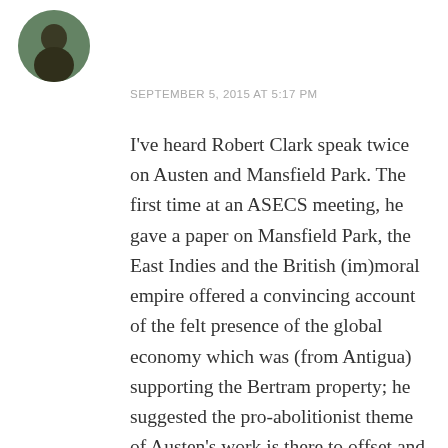[Figure (photo): Circular avatar photo of a person outdoors with greenery in background]
SEPTEMBER 5, 2015 AT 5:17 PM
I've heard Robert Clark speak twice on Austen and Mansfield Park. The first time at an ASECS meeting, he gave a paper on Mansfield Park, the East Indies and the British (im)moral empire offered a convincing account of the felt presence of the global economy which was (from Antigua) supporting the Bertram property; he suggested the pro-abolitionist theme of Austen's work is there to offset and justify the ruthless and cruel exploitation of the native people's imperialism inflicts. He pointed out how involved George Austen was in Antigua, his sons in East India, with Henry's banking business dependent on speculation. Another time he spoke briefly